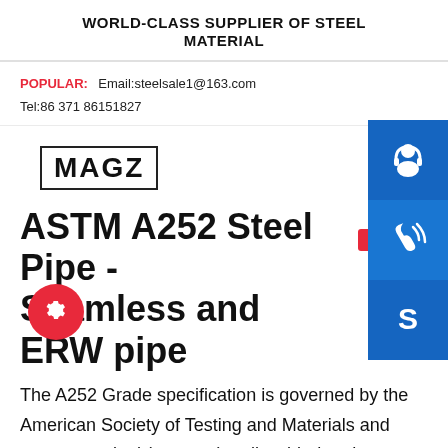WORLD-CLASS SUPPLIER OF STEEL MATERIAL
POPULAR: Email:steelsale1@163.com Tel:86 371 86151827
[Figure (infographic): Three blue square icon buttons on right sidebar: customer service headset icon, phone/call icon, Skype icon. Red gear button at bottom left.]
MAGZ
ASTM A252 Steel Pipe - Seamless and ERW pipe
The A252 Grade specification is governed by the American Society of Testing and Materials and covers nominal (average) wall welded and seamless steel pipe used for piling purposes. In this grade, the pipe acts as a load bearing object or a shell for concrete piles, as per ASTM guidelines. There are three grades under the ASTM A252 Specification